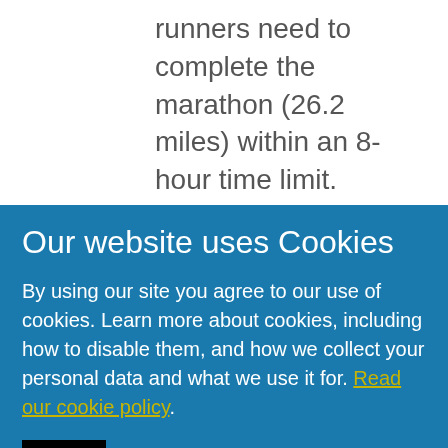runners need to complete the marathon (26.2 miles) within an 8-hour time limit.
The virtual event gives competitors 24 hours to complete the 26.2 miles, anywhere in the
Our website uses Cookies
By using our site you agree to our use of cookies. Learn more about cookies, including how to disable them, and how we collect your personal data and what we use it for. Read our cookie policy.
Close